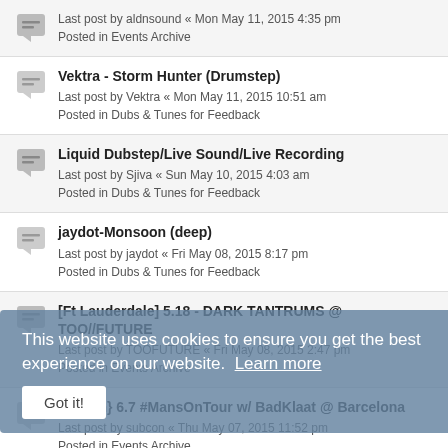Last post by aldnsound « Mon May 11, 2015 4:35 pm
Posted in Events Archive
Vektra - Storm Hunter (Drumstep)
Last post by Vektra « Mon May 11, 2015 10:51 am
Posted in Dubs & Tunes for Feedback
Liquid Dubstep/Live Sound/Live Recording
Last post by Sjiva « Sun May 10, 2015 4:03 am
Posted in Dubs & Tunes for Feedback
jaydot-Monsoon (deep)
Last post by jaydot « Fri May 08, 2015 8:17 pm
Posted in Dubs & Tunes for Feedback
[Ft Lauderdale] 5.18 - DARK TANTRUMS @ TOO//FUTURE
Last post by TOOFUTURE « Fri May 08, 2015 2:47 pm
Posted in Events Archive
{Austin} 6.7 #MansOnTour w/ BadKlaat @ Barcelona
Last post by subcon « Thu May 07, 2015 11:52 pm
Posted in Events Archive
{NYC} 6.6 #MansOnTour w/ BadKlaat & MuK @ Webster Hall
Last post by subcon « Thu May 07, 2015 11:50 pm
Posted in Events Archive
{LA} 6.5 #MansOnTour w/ BadKlaat, MuK, Shack D, @Belasco
Last post by subcon « Thu May 07, 2015 11:45 pm
Posted in Events Archive
{WI} 5/30 #MansOnTour w/ BadKlaat & MuK + more @Infrasound
This website uses cookies to ensure you get the best experience on our website.  Learn more
Got it!